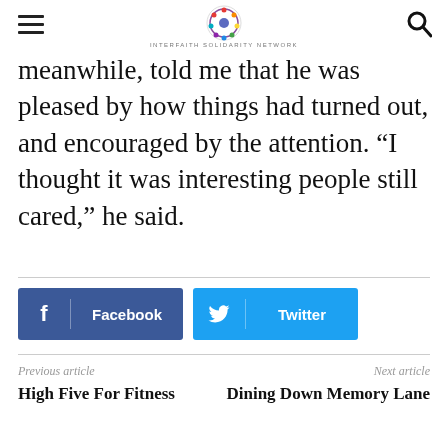INTERFAITH SOLIDARITY NETWORK
meanwhile, told me that he was pleased by how things had turned out, and encouraged by the attention. “I thought it was interesting people still cared,” he said.
[Figure (other): Facebook and Twitter share buttons]
Previous article: High Five For Fitness | Next article: Dining Down Memory Lane